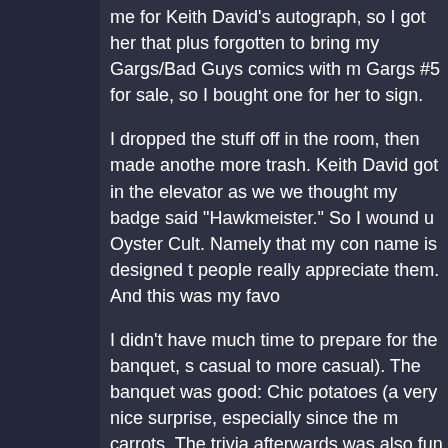me for Keith David's autograph, so I got her that plus forgotten to bring my Gargs/Bad Guys comics with m Gargs #5 for sale, so I bought one for her to sign.
I dropped the stuff off in the room, then made anothe more trash. Keith David got in the elevator as we we thought my badge said "Hawkmeister." So I wound u Oyster Cult. Namely that my con name is designed t people really appreciate them. And this was my favo
I didn't have much time to prepare for the banquet, s casual to more casual). The banquet was good: Chic potatoes (a very nice surprise, especially since the m carrots. The trivia afterwards was also fun. Jen ran o stumped on a question I knew the answer to, but it w the table, banging on it to try and grab Taina's attenti suck at being loud. Ah, well. Still a fun time.
Masquerade was after that. Lots of great costumes th down. Taina's Shari costume was really good, as wel (took Best in Show, which was well-earned). There w which rocked. I can't believe Karine actually found th